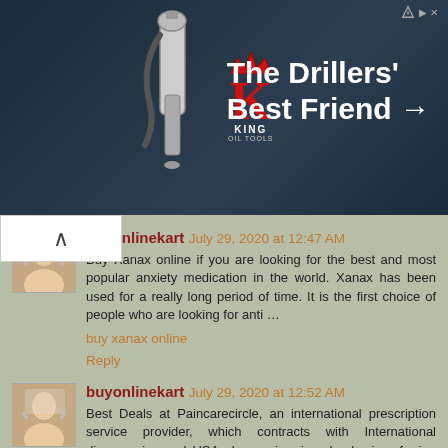[Figure (photo): King Oil Tools advertisement banner with dark blue background, drill equipment on left, red King logo in center, and text 'The Drillers' Best Friend →' on right]
buyonlinekart July 29, 2020 at 12:47 AM
Buy Xanax online if you are looking for the best and most popular anxiety medication in the world. Xanax has been used for a really long period of time. It is the first choice of people who are looking for anti …
buy xanax online
Reply
buyonlinekart July 29, 2020 at 12:52 AM
Best Deals at Paincarecircle, an international prescription service provider, which contracts with International dispensaries and USA pharmacies, is a leader in referring orders for prescription and non-prescription medications on